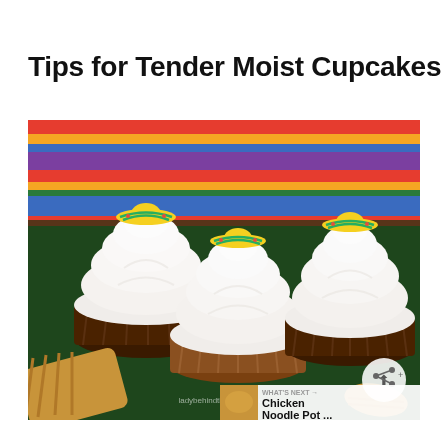Tips for Tender Moist Cupcakes
[Figure (photo): Three cupcakes with white swirled frosting and yellow sombrero decorations on top, displayed on a colorful striped cloth background. Churros or cinnamon sugar pastries visible in the foreground. A small watermark reading 'ladybehindthecurtain.com' is visible at the bottom. A circular share button icon appears in the lower right. A 'WHAT'S NEXT' overlay with a thumbnail and text 'Chicken Noodle Pot ...' is visible in the bottom right corner.]